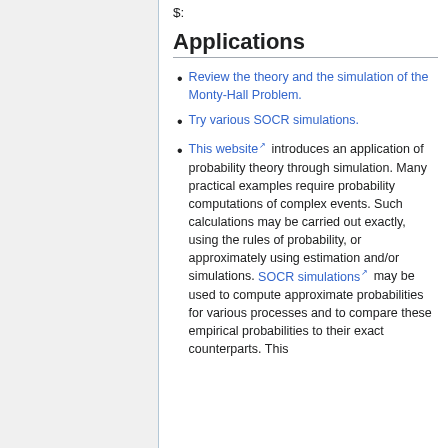$:
Applications
Review the theory and the simulation of the Monty-Hall Problem.
Try various SOCR simulations.
This website introduces an application of probability theory through simulation. Many practical examples require probability computations of complex events. Such calculations may be carried out exactly, using the rules of probability, or approximately using estimation and/or simulations. SOCR simulations may be used to compute approximate probabilities for various processes and to compare these empirical probabilities to their exact counterparts. This